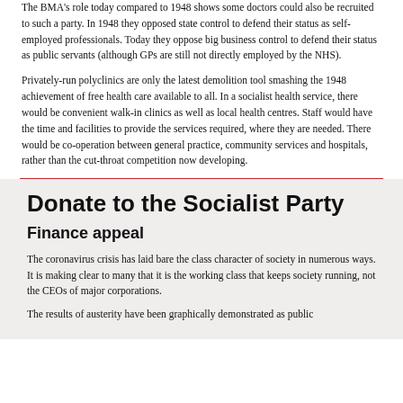The BMA's role today compared to 1948 shows some doctors could also be recruited to such a party. In 1948 they opposed state control to defend their status as self-employed professionals. Today they oppose big business control to defend their status as public servants (although GPs are still not directly employed by the NHS).
Privately-run polyclinics are only the latest demolition tool smashing the 1948 achievement of free health care available to all. In a socialist health service, there would be convenient walk-in clinics as well as local health centres. Staff would have the time and facilities to provide the services required, where they are needed. There would be co-operation between general practice, community services and hospitals, rather than the cut-throat competition now developing.
Donate to the Socialist Party
Finance appeal
The coronavirus crisis has laid bare the class character of society in numerous ways. It is making clear to many that it is the working class that keeps society running, not the CEOs of major corporations.
The results of austerity have been graphically demonstrated as public